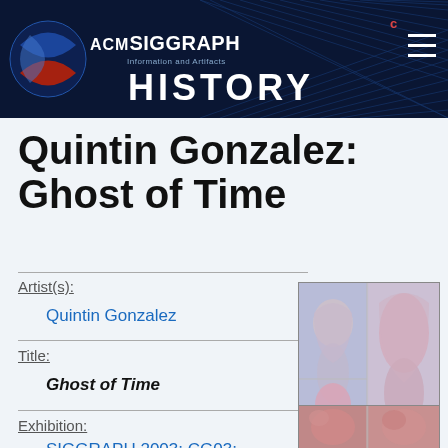ACM SIGGRAPH Information and Artifacts HISTORY
Quintin Gonzalez: Ghost of Time
Artist(s):
Quintin Gonzalez
Title:
Ghost of Time
Exhibition:
SIGGRAPH 2003: CG03: Computer
[Figure (photo): Artwork image showing ghostly figurative forms in blue and pink tones, displayed as a composite of multiple panels]
[Figure (photo): Artwork image showing reddish-pink figurative forms]